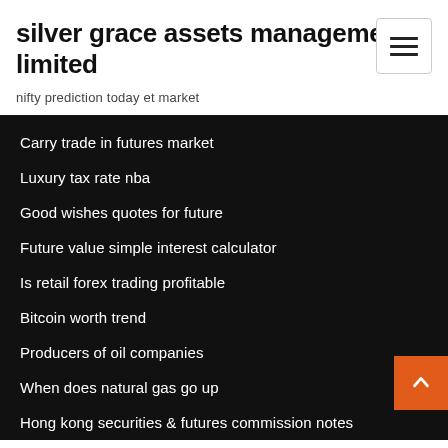silver grace assets management limited
nifty prediction today et market
Carry trade in futures market
Luxury tax rate nba
Good wishes quotes for future
Future value simple interest calculator
Is retail forex trading profitable
Bitcoin worth trend
Producers of oil companies
When does natural gas go up
Hong kong securities & futures commission notes